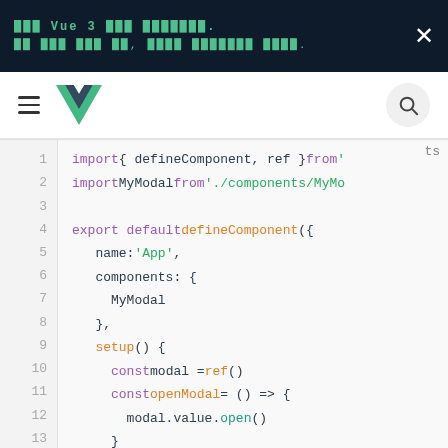Vue 3 announcement banner: 'Vue 3 is now the new default. See the blog post for more details.'
[Figure (screenshot): Vue.js website navigation bar with hamburger menu, Vue logo, and search button]
[Figure (screenshot): TypeScript code snippet showing Vue 3 defineComponent with import statements, component definition with name 'App', components block with MyModal, setup function with const modal = ref(), const openModal = () => { modal.value.open() }, and return { modal, openModal }]